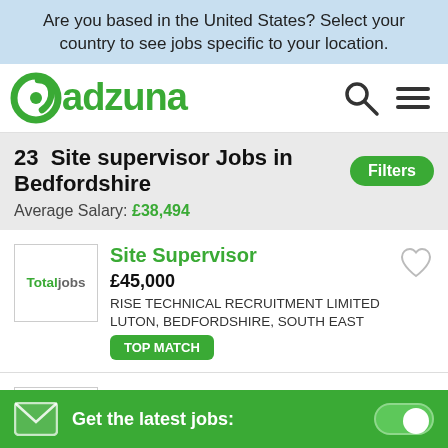Are you based in the United States? Select your country to see jobs specific to your location.
[Figure (logo): Adzuna logo in green with search and menu icons]
23 Site supervisor Jobs in Bedfordshire
Average Salary: £38,494
Site Supervisor
£45,000
RISE TECHNICAL RECRUITMENT LIMITED
LUTON, BEDFORDSHIRE, SOUTH EAST
TOP MATCH
Site Install Supervisor
£28,000 - £30,000 PER YEAR
TEC PARTNERS LIMITED
Get the latest jobs: